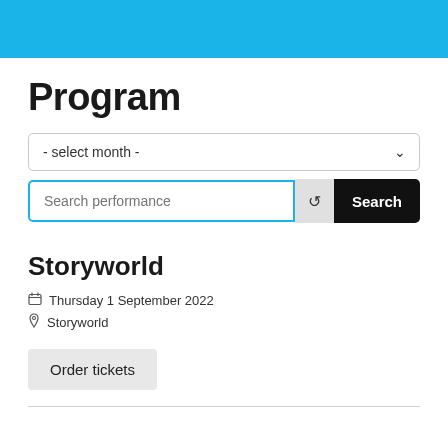Program
- select month -
Search performance | Search
Storyworld
Thursday 1 September 2022
Storyworld
Order tickets